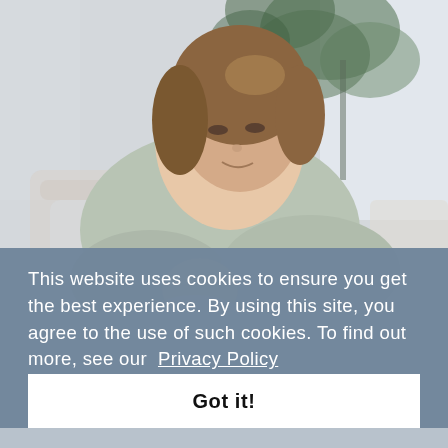[Figure (photo): A woman with brown wavy hair, wearing a light grey/sage cardigan, sitting on a white wicker chair and looking down at a newborn baby she is holding. A large tropical plant is visible in the background near a bright window.]
This website uses cookies to ensure you get the best experience. By using this site, you agree to the use of such cookies. To find out more, see our  Privacy Policy
Got it!